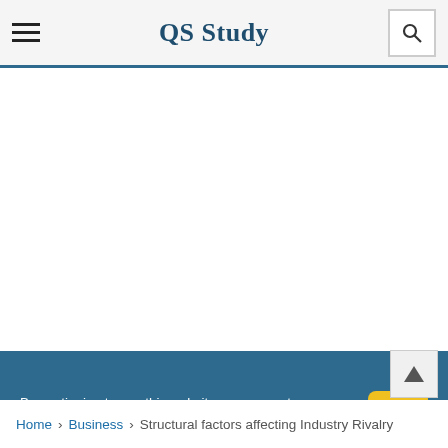QS Study
By continuing to use this website, you agree to our use of Cookies
Home > Business > Structural factors affecting Industry Rivalry